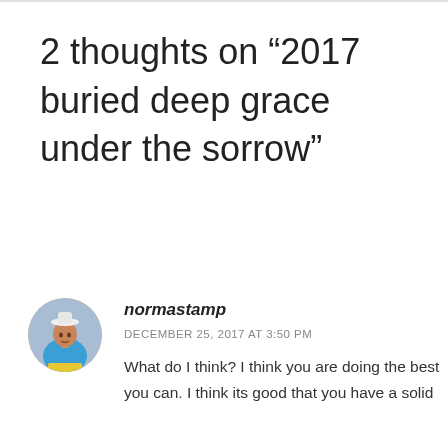2 thoughts on “2017 buried deep grace under the sorrow”
[Figure (photo): Circular avatar photo of a person wearing a blue outfit and white hat, outdoors]
normastamp
DECEMBER 25, 2017 AT 3:50 PM
What do I think? I think you are doing the best you can. I think its good that you have a solid